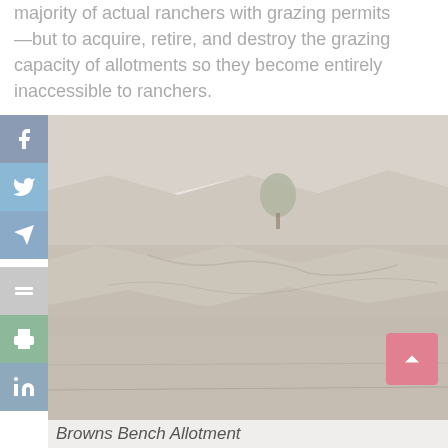majority of actual ranchers with grazing permits—but to acquire, retire, and destroy the grazing capacity of allotments so they become entirely inaccessible to ranchers.
[Figure (photo): Photograph of a rocky desert canyon landscape with pale sandstone cliffs and sparse vegetation, likely the Browns Bench Allotment area.]
Browns Bench Allotment